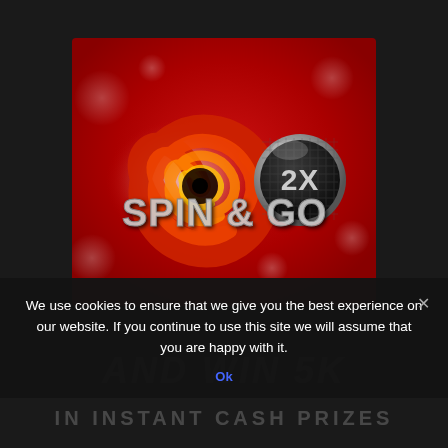[Figure (screenshot): Spin & Go 2X promotional banner image with red swirl graphic on red background with bokeh effects and silver 2X badge]
We use cookies to ensure that we give you the best experience on our website. If you continue to use this site we will assume that you are happy with it.
Ok
AND WIN 5K
IN INSTANT CASH PRIZES